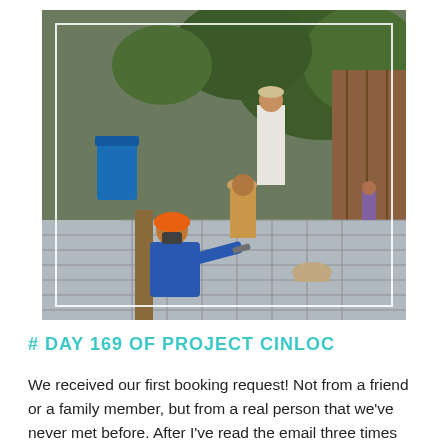[Figure (photo): Workers on a construction site laying and tying rebar on a concrete slab. One worker wears an orange hard hat and blue shirt with a face mask. Another wears a tan hat. A worker in a white shirt stands watching in the background. Trees and wooden structures visible in background. White border frame inset on the photo.]
# DAY 169 OF PROJECT CINLOC
We received our first booking request! Not from a friend or a family member, but from a real person that we've never met before. After I've read the email three times...